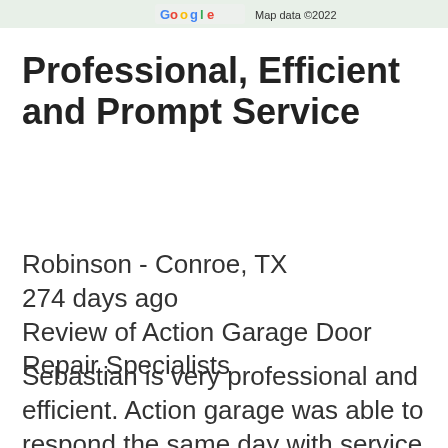[Figure (screenshot): Google Maps watermark showing 'Google' logo and 'Map data ©2022' text at top of page]
Professional, Efficient and Prompt Service
Robinson - Conroe, TX
274 days ago
Review of Action Garage Door Repair Specialists
Sebastian is very professional and efficient. Action garage was able to respond the same day with service which was a big